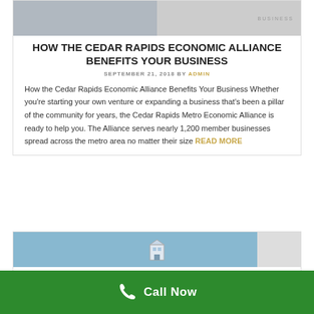[Figure (photo): Top image showing handshake on left half and business logo on right half]
HOW THE CEDAR RAPIDS ECONOMIC ALLIANCE BENEFITS YOUR BUSINESS
SEPTEMBER 21, 2018 BY ADMIN
How the Cedar Rapids Economic Alliance Benefits Your Business Whether you're starting your own venture or expanding a business that's been a pillar of the community for years, the Cedar Rapids Metro Economic Alliance is ready to help you. The Alliance serves nearly 1,200 member businesses spread across the metro area no matter their size READ MORE
[Figure (photo): Partial second article card with building image at bottom of page]
Call Now